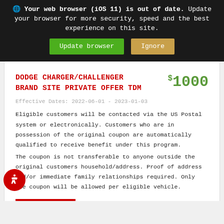🌐 Your web browser (iOS 11) is out of date. Update your browser for more security, speed and the best experience on this site. [Update browser] [Ignore]
DODGE CHARGER/CHALLENGER BRAND SITE PRIVATE OFFER TDM
$1000
Effective Dates: 2022-06-01 - 2023-01-03
Eligible customers will be contacted via the US Postal system or electronically. Customers who are in possession of the original coupon are automatically qualified to receive benefit under this program.
The coupon is not transferable to anyone outside the original customers household/address. Proof of address and/or immediate family relationships required. Only one coupon will be allowed per eligible vehicle.